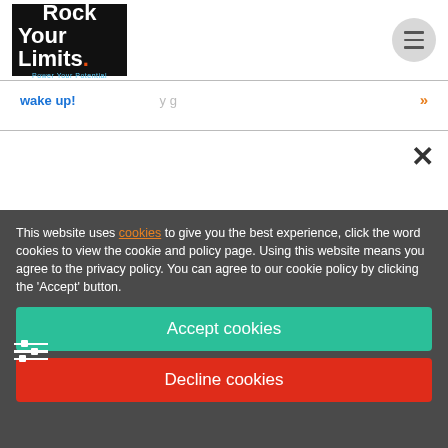[Figure (logo): Rock Your Limits logo — black box with white bold text 'Rock Your Limits' and blue subtitle 'Power Your Potential']
wake up!
»
×
This website uses cookies to give you the best experience, click the word cookies to view the cookie and policy page. Using this website means you agree to the privacy policy. You can agree to our cookie policy by clicking the 'Accept' button.
Accept cookies
Decline cookies